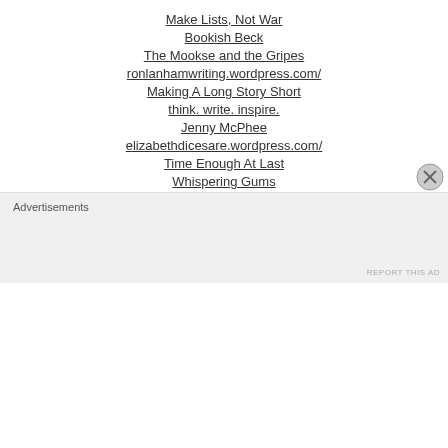Make Lists, Not War
Bookish Beck
The Mookse and the Gripes
ronlanhamwriting.wordpress.com/
Making A Long Story Short
think. write. inspire.
Jenny McPhee
elizabethdicesare.wordpress.com/
Time Enough At Last
Whispering Gums
writers' writers' material
A short story a day review
We Minored in Film
Architecture Here and There
Lost In A Good Book
Advertisements
REPORT THIS AD